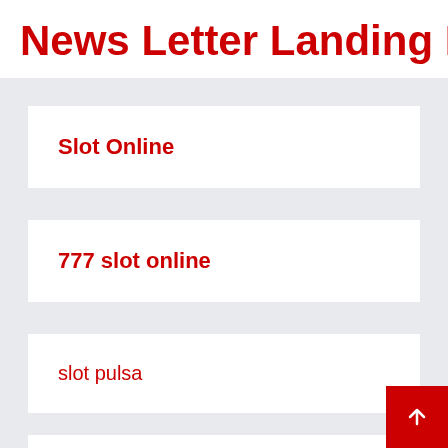News Letter Landing Pag
Slot Online
777 slot online
slot pulsa
Togel Hongkong